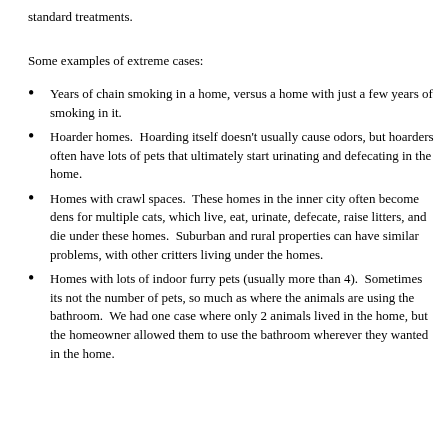standard treatments.
Some examples of extreme cases:
Years of chain smoking in a home, versus a home with just a few years of smoking in it.
Hoarder homes.  Hoarding itself doesn't usually cause odors, but hoarders often have lots of pets that ultimately start urinating and defecating in the home.
Homes with crawl spaces.  These homes in the inner city often become dens for multiple cats, which live, eat, urinate, defecate, raise litters, and die under these homes.  Suburban and rural properties can have similar problems, with other critters living under the homes.
Homes with lots of indoor furry pets (usually more than 4).  Sometimes its not the number of pets, so much as where the animals are using the bathroom.  We had one case where only 2 animals lived in the home, but the homeowner allowed them to use the bathroom wherever they wanted in the home.